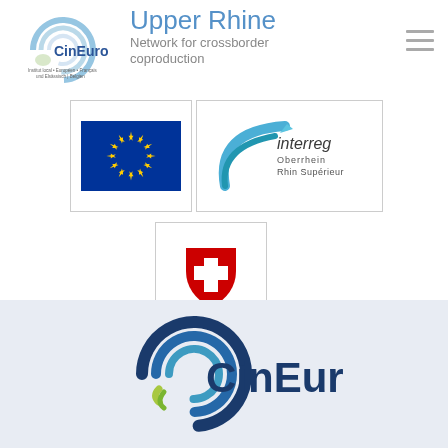[Figure (logo): CinEuro logo top-left: circular arc design in blue/grey with text CinEuro and small tagline]
Upper Rhine
Network for crossborder coproduction
[Figure (logo): Hamburger menu icon (three horizontal lines) top-right]
[Figure (logo): European Union flag: blue background with yellow circle of stars]
[Figure (logo): Interreg Oberrhein / Rhin Supérieur logo: blue swoosh with pen nib and text]
[Figure (logo): Swiss coat of arms: red shield with white cross]
[Figure (logo): Large CinEuro logo on light blue-grey background at bottom of page]